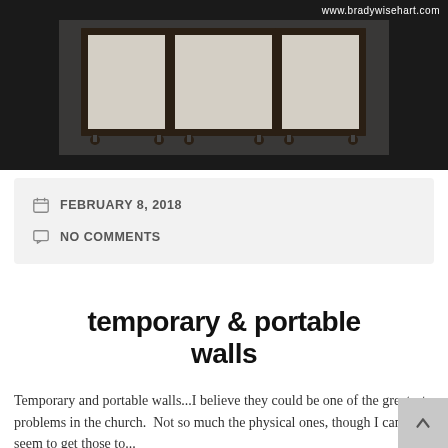www.bradywisehart.com
[Figure (photo): A portable room divider / partition wall with beige panels and dark metal frames on wheels, photographed against a white background.]
FEBRUARY 8, 2018
NO COMMENTS
temporary & portable walls
Temporary and portable walls...I believe they could be one of the greatest problems in the church.  Not so much the physical ones, though I can't seem to get those to...